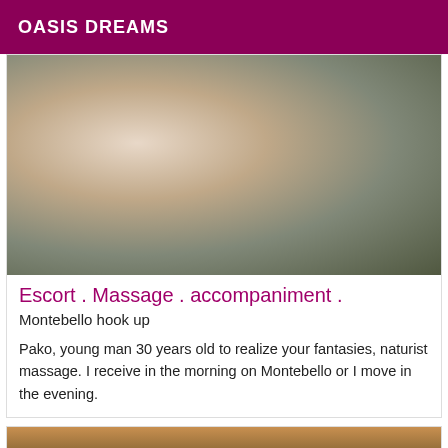OASIS DREAMS
[Figure (photo): Shirtless man taking a mirror selfie, showing torso and tattoo on right arm]
Escort . Massage . accompaniment .
Montebello hook up
Pako, young man 30 years old to realize your fantasies, naturist massage. I receive in the morning on Montebello or I move in the evening.
[Figure (photo): Close-up photo, partially visible at bottom of page]